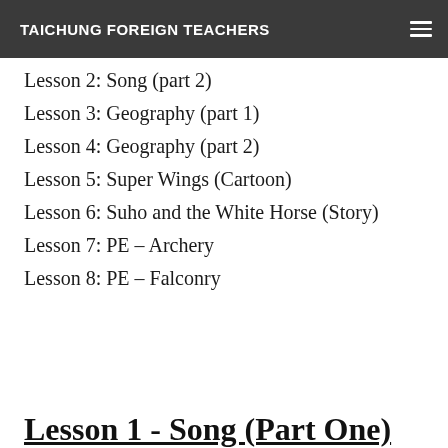TAICHUNG FOREIGN TEACHERS
Lesson 2: Song (part 2)
Lesson 3: Geography (part 1)
Lesson 4: Geography (part 2)
Lesson 5: Super Wings (Cartoon)
Lesson 6: Suho and the White Horse (Story)
Lesson 7: PE – Archery
Lesson 8: PE – Falconry
Lesson 1 - Song (Part One)